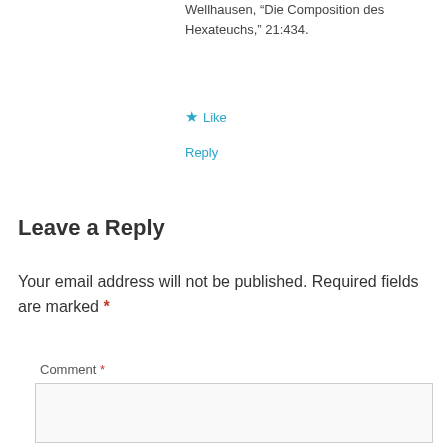Wellhausen, “Die Composition des Hexateuchs,” 21:434.
Like
Reply
Leave a Reply
Your email address will not be published. Required fields are marked *
Comment *